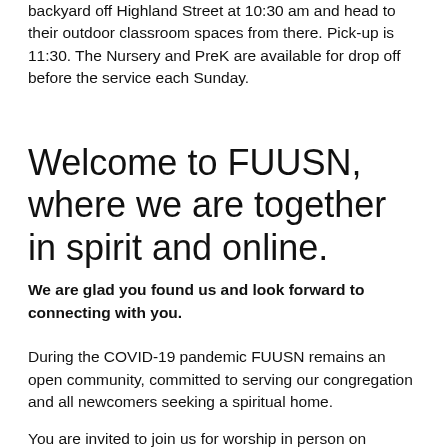backyard off Highland Street at 10:30 am and head to their outdoor classroom spaces from there. Pick-up is 11:30. The Nursery and PreK are available for drop off before the service each Sunday.
Welcome to FUUSN, where we are together in spirit and online.
We are glad you found us and look forward to connecting with you.
During the COVID-19 pandemic FUUSN remains an open community, committed to serving our congregation and all newcomers seeking a spiritual home.
You are invited to join us for worship in person on Sunday at 10:15 am. You do not have access to this post.For information on our Sunday worship services conducted